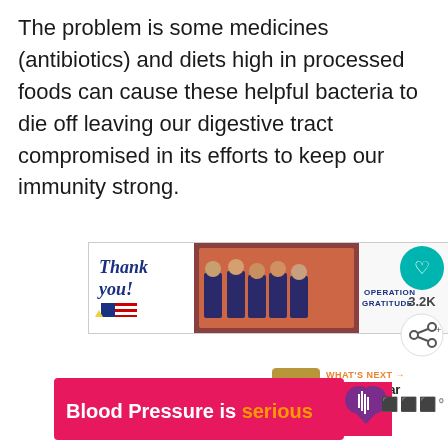The problem is some medicines (antibiotics) and diets high in processed foods can cause these helpful bacteria to die off leaving our digestive tract compromised in its efforts to keep our immunity strong.
[Figure (infographic): Advertisement banner: 'Thank you!' text with American flag pencil graphic and photo of military personnel in uniform, with 'Operation Gratitude' logo on right side]
[Figure (infographic): Social interaction buttons: heart/like button in teal circle, 3.2K count, share button]
[Figure (infographic): What's Next section with food photo thumbnail and text 'Spiced Pear Oatmeal']
[Figure (infographic): Advertisement banner: 'Blood Pressure is serious' in pink/magenta background with purple heart icon and partial logo on right]